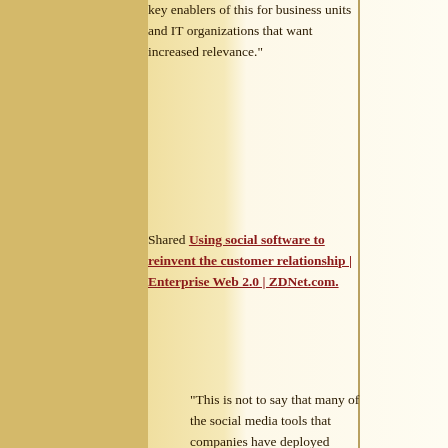key enablers of this for business units and IT organizations that want increased relevance."
Shared Using social software to reinvent the customer relationship | Enterprise Web 2.0 | ZDNet.com.
"This is not to say that many of the social media tools that companies have deployed already arenâ€™t good examples of Social CRM. Many of them are and this highlights a major discussion in the blogosphere last week sparked by SocialTextâ€™s